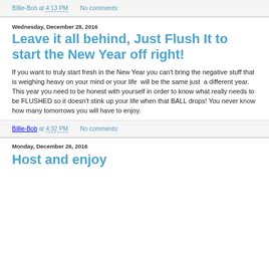Billie-Bob at 4:13 PM   No comments:
Wednesday, December 28, 2016
Leave it all behind, Just Flush It to start the New Year off right!
If you want to truly start fresh in the New Year you can't bring the negative stuff that is weighing heavy on your mind or your life  will be the same just  a different year. This year you need to be honest with yourself in order to know what really needs to be FLUSHED so it doesn't stink up your life when that BALL drops! You never know how many tomorrows you will have to enjoy.
Billie-Bob at 4:32 PM   No comments:
Monday, December 26, 2016